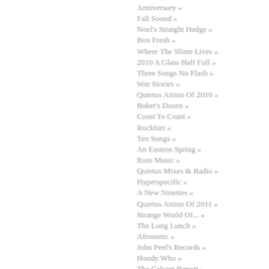Anniversary »
Fall Sound »
Noel's Straight Hedge »
Box Fresh »
Where The Slime Lives »
2010 A Glass Half Full »
Three Songs No Flash »
War Stories »
Quietus Artists Of 2010 »
Baker's Dozen »
Coast To Coast »
Rockfort »
Ten Songs »
An Eastern Spring »
Rum Music »
Quietus Mixes & Radio »
Hyperspecific »
A New Nineties »
Quietus Artists Of 2011 »
Strange World Of... »
The Long Lunch »
Afrosonic »
John Peel's Records »
Hoody Who »
The Calvert Report »
Radio-Activity »
Tape Adapter »
I Am Demo Suzuki »
Electro Chaabi »
Track-By-Track »